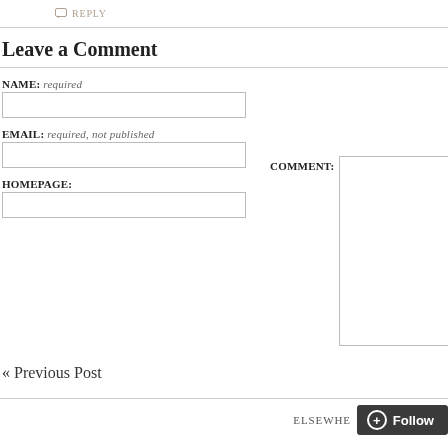REPLY
Leave a Comment
NAME: required
EMAIL: required, not published
HOMEPAGE:
COMMENT:
« Previous Post
ELSEWHERE